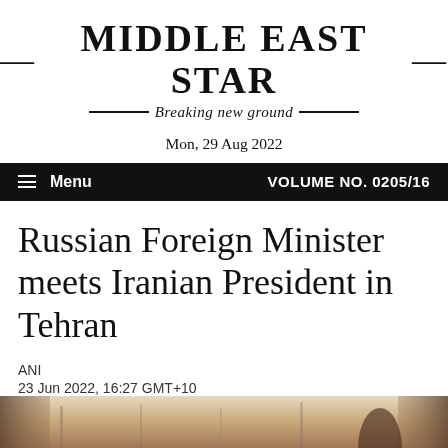—MIDDLE EAST STAR— Breaking new ground
Mon, 29 Aug 2022
Menu  VOLUME NO. 0205/16
Russian Foreign Minister meets Iranian President in Tehran
ANI
23 Jun 2022, 16:27 GMT+10
[Figure (photo): Partial view of a photograph showing what appears to be an interior scene, partially cut off at the bottom of the page.]